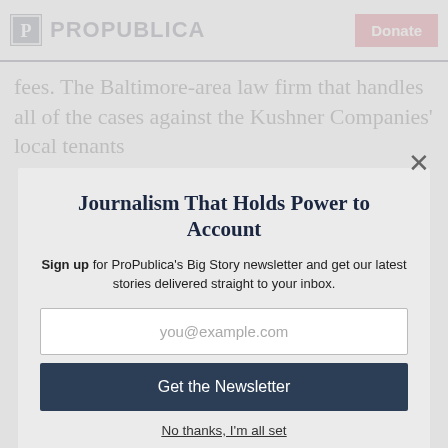ProPublica | Donate
fees. The Baltimore-area law firm that handles all of the cases against the Kushner Companies' local tenants
Journalism That Holds Power to Account
Sign up for ProPublica's Big Story newsletter and get our latest stories delivered straight to your inbox.
you@example.com
Get the Newsletter
No thanks, I'm all set
This site is protected by reCAPTCHA and the Google Privacy Policy and Terms of Service apply.